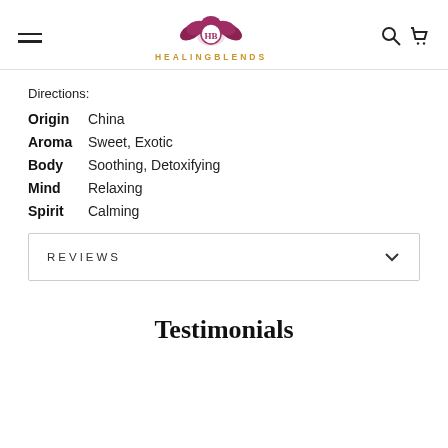HEALINGBLENDS — navigation header with logo, hamburger menu, search and cart icons
Directions:
Origin  China
Aroma  Sweet, Exotic
Body  Soothing, Detoxifying
Mind  Relaxing
Spirit  Calming
REVIEWS
Testimonials